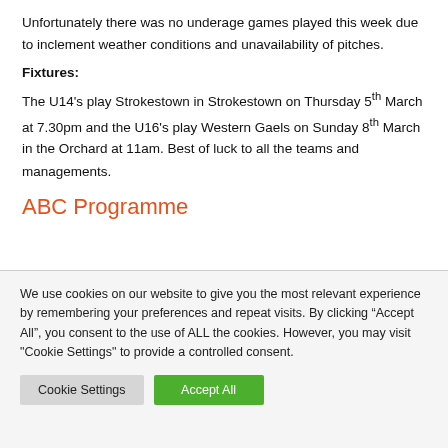Unfortunately there was no underage games played this week due to inclement weather conditions and unavailability of pitches.
Fixtures:
The U14’s play Strokestown in Strokestown on Thursday 5th March at 7.30pm and the U16’s play Western Gaels on Sunday 8th March in the Orchard at 11am. Best of luck to all the teams and managements.
ABC Programme
We use cookies on our website to give you the most relevant experience by remembering your preferences and repeat visits. By clicking “Accept All”, you consent to the use of ALL the cookies. However, you may visit "Cookie Settings" to provide a controlled consent.